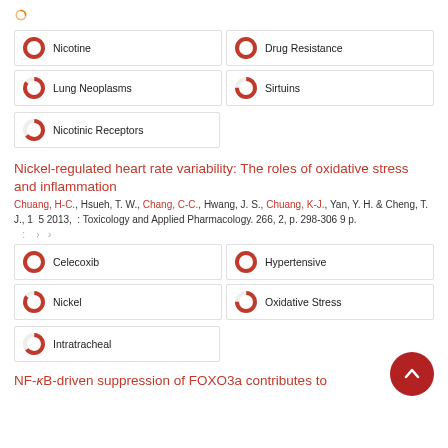[Figure (other): Open access icon (orange circular arrow)]
[Figure (infographic): Keyword relevance donut badges: Nicotine 100%, Drug Resistance 100%, Lung Neoplasms ~85%, Sirtuins ~75%, Nicotinic Receptors ~65%]
Nickel-regulated heart rate variability: The roles of oxidative stress and inflammation
Chuang, H-C., Hsueh, T. W., Chang, C-C., Hwang, J. S., Chuang, K-J., Yan, Y. H. & Cheng, T. J., 1 5 2013, : Toxicology and Applied Pharmacology. 266, 2, p. 298-306 9 p.
: › ›
[Figure (infographic): Keyword relevance donut badges: Celecoxib 100%, Hypertensive 100%, Nickel ~85%, Oxidative Stress ~75%, Intratracheal ~65%]
NF-κB-driven suppression of FOXO3a contributes to